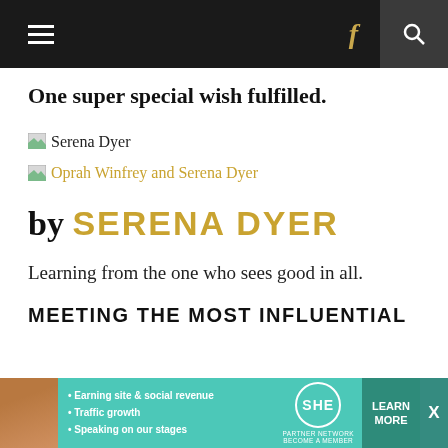≡  f  🔍
One super special wish fulfilled.
Serena Dyer
Oprah Winfrey and Serena Dyer
by SERENA DYER
Learning from the one who sees good in all.
MEETING THE MOST INFLUENTIAL
[Figure (advertisement): SHE Partner Network advertisement banner with teal background, woman photo, bullet points: Earning site & social revenue, Traffic growth, Speaking on our stages, SHE logo, LEARN MORE button]